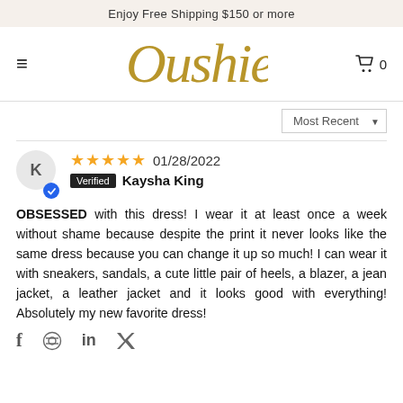Enjoy Free Shipping $150 or more
[Figure (logo): Oushie brand logo in gold script]
Most Recent
★★★★★ 01/28/2022
Verified Kaysha King
OBSESSED with this dress! I wear it at least once a week without shame because despite the print it never looks like the same dress because you can change it up so much! I can wear it with sneakers, sandals, a cute little pair of heels, a blazer, a jean jacket, a leather jacket and it looks good with everything! Absolutely my new favorite dress!